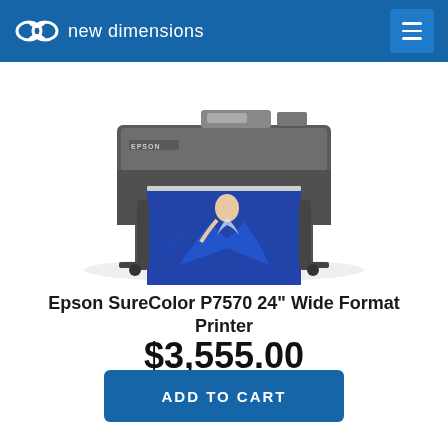new dimensions
[Figure (photo): Epson SureColor P7570 24-inch wide format printer shown from the front with a printed photo of a woman in a flowing blue dress visible on the output tray, mounted on a wheeled stand.]
Epson SureColor P7570 24" Wide Format Printer
$3,555.00
ADD TO CART